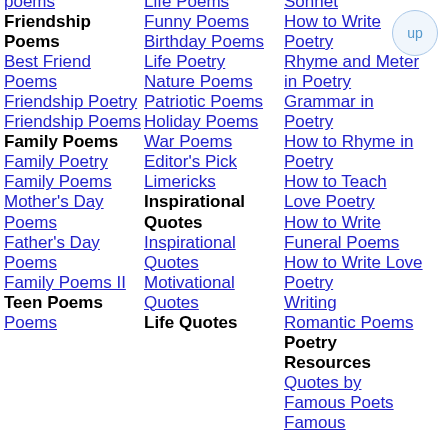poems
Life Poems
Sonnet
Friendship Poems
Funny Poems
How to Write Poetry
Best Friend Poems
Birthday Poems
Rhyme and Meter in Poetry
Friendship Poetry
Life Poetry
Grammar in Poetry
Friendship Poems
Nature Poems
How to Rhyme in Poetry
Family Poems
Patriotic Poems
How to Teach Love Poetry
Family Poetry
Holiday Poems
How to Write Funeral Poems
Family Poems
War Poems
How to Write Love Poetry
Mother's Day Poems
Editor's Pick
Writing
Father's Day Poems
Limericks
Romantic Poems
Family Poems II
Inspirational Quotes
Poetry Resources
Teen Poems
Inspirational Quotes
Quotes by Famous Poets
Motivational Quotes
Famous
Life Quotes